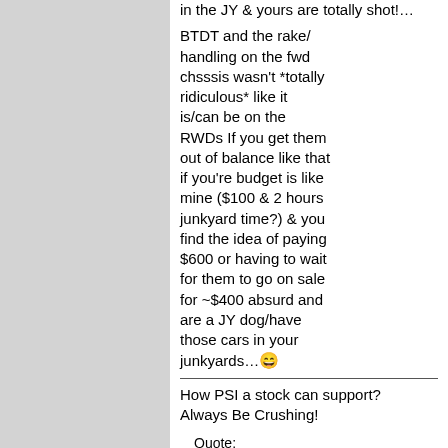in the JY & yours are totally shot!…
BTDT and the rake/handling on the fwd chsssis wasn't *totally ridiculous* like it is/can be on the RWDs If you get them out of balance like that if you're budget is like mine ($100 & 2 hours junkyard time?) & you find the idea of paying $600 or having to wait for them to go on sale for ~$400 absurd and are a JY dog/have those cars in your junkyards…😄
How PSI a stock can support?
Always Be Crushing!
Quote: Originally Posted by JohnMc If you send